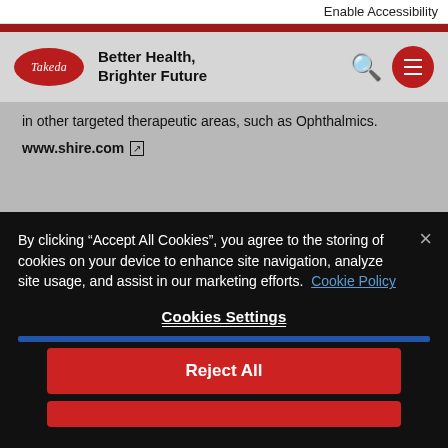Enable Accessibility
[Figure (logo): Takeda logo oval with brand text 'Better Health, Brighter Future' and search/menu icons]
in other targeted therapeutic areas, such as Ophthalmics.
www.shire.com
By clicking “Accept All Cookies”, you agree to the storing of cookies on your device to enhance site navigation, analyze site usage, and assist in our marketing efforts. Cookie Policy
Cookies Settings
Reject All